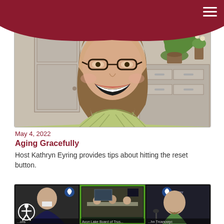[Figure (photo): Woman with brown shoulder-length hair and glasses smiling widely during a video call. She is wearing a plaid top. Background shows a door and cabinets with a plant.]
May 4, 2022
Aging Gracefully
Host Kathryn Eyring provides tips about hitting the reset button.
[Figure (screenshot): Screenshot of a video conference call showing three participants: a man in a suit on the left, a board meeting scene in the center panel with green border, and a man with a beard on the right. Water district logos visible. Text labels show 'Avon Lake Board of Trus...' and another participant name at bottom.]